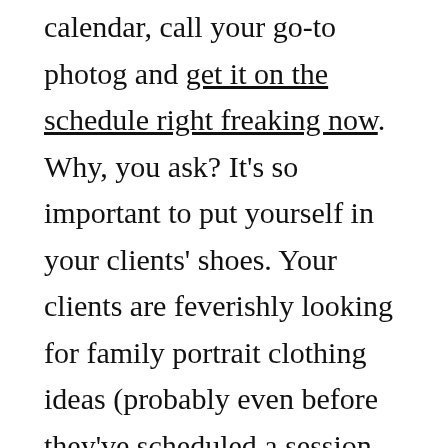calendar, call your go-to photog and get it on the schedule right freaking now. Why, you ask? It's so important to put yourself in your clients' shoes. Your clients are feverishly looking for family portrait clothing ideas (probably even before they've scheduled a session with you). Will this look right? Will that? What about these colors? Too plain? Too bold? Too many patterns? Gah! The struggle goes on and on when it comes to family portrait clothing ideas and all the related fussing.